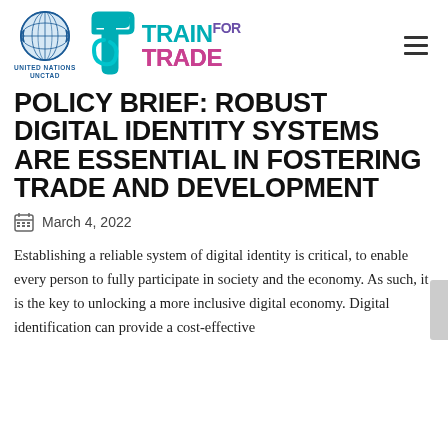[Figure (logo): United Nations UNCTAD logo with globe emblem and text 'UNITED NATIONS UNCTAD']
[Figure (logo): Train for Trade logo with teal T icon and colorful text TRAIN FOR TRADE]
POLICY BRIEF: ROBUST DIGITAL IDENTITY SYSTEMS ARE ESSENTIAL IN FOSTERING TRADE AND DEVELOPMENT
March 4, 2022
Establishing a reliable system of digital identity is critical, to enable every person to fully participate in society and the economy. As such, it is the key to unlocking a more inclusive digital economy. Digital identification can provide a cost-effective